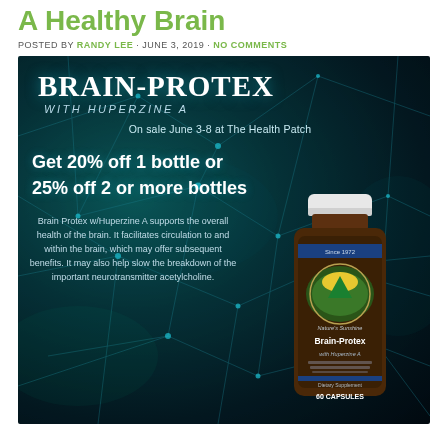A Healthy Brain
POSTED BY RANDY LEE · JUNE 3, 2019 · NO COMMENTS
[Figure (infographic): Advertisement for Brain-Protex with Huperzine A from Nature's Sunshine. Dark teal background with neuron network. Shows product bottle. Text: Brain-Protex with Huperzine A, On sale June 3-8 at The Health Patch, Get 20% off 1 bottle or 25% off 2 or more bottles. Brain Protex w/Huperzine A supports the overall health of the brain. It facilitates circulation to and within the brain, which may offer subsequent benefits. It may also help slow the breakdown of the important neurotransmitter acetylcholine.]